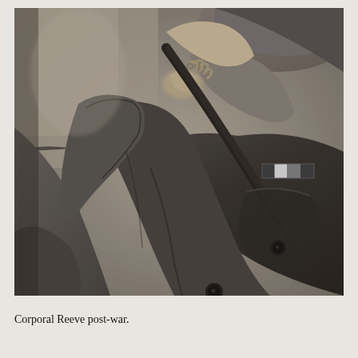[Figure (photo): Black and white close-up photograph of a person in military uniform (corporal). The image shows the chest and shoulder area of the uniform, including buttons, a breast pocket, a military ribbon/medal bar, and the collar area. The person's hands are visible near the collar. The photo appears to be post-war era.]
Corporal Reeve post-war.